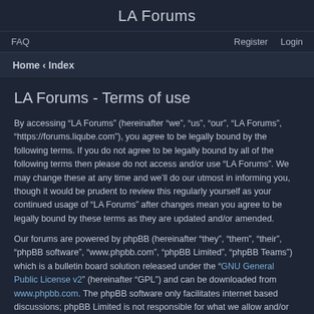LA Forums
FAQ    Register    Login
Home « Index
LA Forums - Terms of use
By accessing “LA Forums” (hereinafter “we”, “us”, “our”, “LA Forums”, “https://forums.liqube.com”), you agree to be legally bound by the following terms. If you do not agree to be legally bound by all of the following terms then please do not access and/or use “LA Forums”. We may change these at any time and we’ll do our utmost in informing you, though it would be prudent to review this regularly yourself as your continued usage of “LA Forums” after changes mean you agree to be legally bound by these terms as they are updated and/or amended.
Our forums are powered by phpBB (hereinafter “they”, “them”, “their”, “phpBB software”, “www.phpbb.com”, “phpBB Limited”, “phpBB Teams”) which is a bulletin board solution released under the “GNU General Public License v2” (hereinafter “GPL”) and can be downloaded from www.phpbb.com. The phpBB software only facilitates internet based discussions; phpBB Limited is not responsible for what we allow and/or disallow as permissible content and/or conduct. For further information about phpBB, please see: https://www.phpbb.com/.